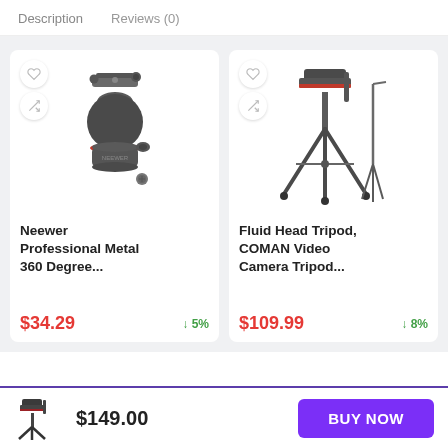Description   Reviews (0)
[Figure (photo): Neewer Professional Metal 360 Degree ball head tripod mount product photo]
Neewer Professional Metal 360 Degree...
$34.29  ↓ 5%
[Figure (photo): Fluid Head Tripod, COMAN Video Camera Tripod product photo]
Fluid Head Tripod, COMAN Video Camera Tripod...
$109.99  ↓ 8%
$149.00  BUY NOW